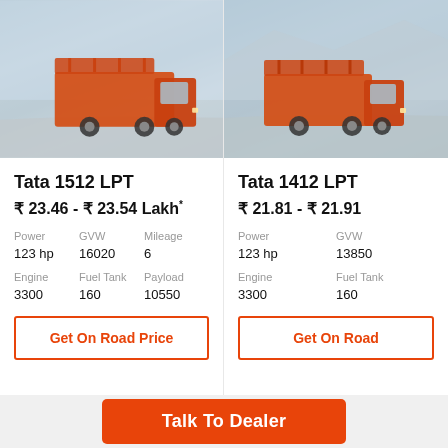[Figure (photo): Orange Tata 1512 LPT truck on a road]
Tata 1512 LPT
₹ 23.46 - ₹ 23.54 Lakh*
| Power | GVW | Mileage |
| --- | --- | --- |
| 123 hp | 16020 | 6 |
| Engine | Fuel Tank | Payload |
| --- | --- | --- |
| 3300 | 160 | 10550 |
Get On Road Price
[Figure (photo): Orange Tata 1412 LPT truck on a road]
Tata 1412 LPT
₹ 21.81 - ₹ 21.91
| Power | GVW |
| --- | --- |
| 123 hp | 13850 |
| Engine | Fuel Tank |
| --- | --- |
| 3300 | 160 |
Get On Road
Talk To Dealer